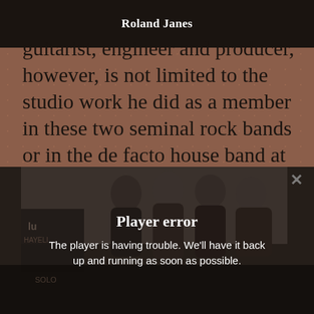Roland Janes
guitarist, engineer and producer, however, is not limited to the studio work he did as a member in these two seminal rock bands or in the de facto house band at Sun Records.
[Figure (screenshot): A black and white photograph of four men standing together, partially visible behind a player error overlay dialog box. The dialog reads 'Player error' with the message 'The player is having trouble. We’ll have it back up and running as soon as possible.' A close (X) button appears in the upper right corner.]